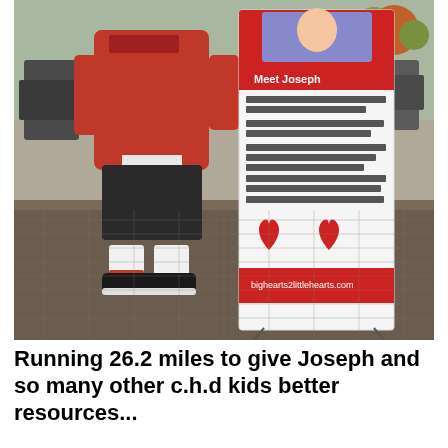[Figure (photo): A child in a red hoodie and black shorts stands on a brick patio next to a tall banner sign for bighearts2littlehearts.com. The banner features text about 'Meet Joseph', red heart graphics, and the website URL. Outdoor patio furniture and plants are visible in the background.]
Running 26.2 miles to give Joseph and so many other c.h.d kids better resources...